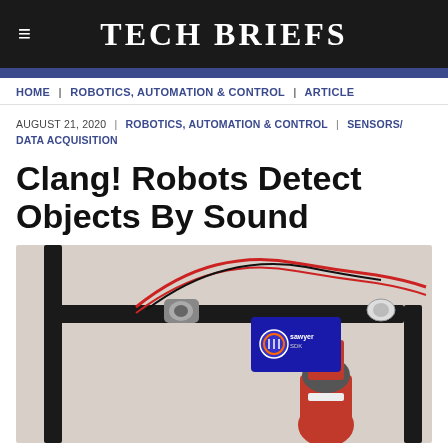Tech Briefs
HOME | ROBOTICS, AUTOMATION & CONTROL | ARTICLE
AUGUST 21, 2020 | ROBOTICS, AUTOMATION & CONTROL | SENSORS/ DATA ACQUISITION
Clang! Robots Detect Objects By Sound
[Figure (photo): A robotic arm (Sawyer SDK) with a black frame structure and red and black wires attached at the top, positioned in a laboratory or workshop setting.]